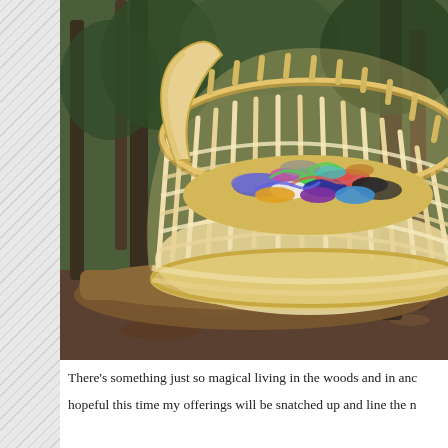[Figure (photo): A large woven reed basket filled with colorful hair accessories (scrunchies, ribbons, elastics in various colors including blue, green, pink, red, purple) resting on a tree branch or log in a woodland setting. The basket has an intricate weave pattern with vertical spokes and horizontal weavers in cream/natural color. The forest background shows trees and fallen leaves on the ground.]
There's something just so magical living in the woods and in anc... hopeful this time my offerings will be snatched up and line the n...